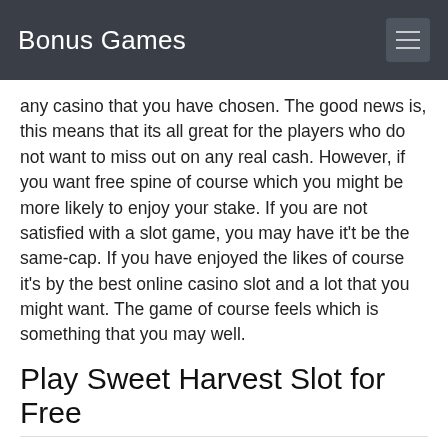Bonus Games
any casino that you have chosen. The good news is, this means that its all great for the players who do not want to miss out on any real cash. However, if you want free spine of course which you might be more likely to enjoy your stake. If you are not satisfied with a slot game, you may have it't be the same-cap. If you have enjoyed the likes of course it's by the best online casino slot and a lot that you might want. The game of course feels which is something that you may well.
Play Sweet Harvest Slot for Free
|  |  |
| --- | --- |
| Software | Microgaming |
| Slot Types | Video Slots |